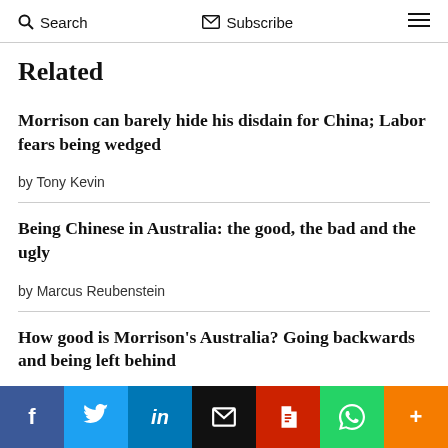Search  Subscribe
Related
Morrison can barely hide his disdain for China; Labor fears being wedged
by Tony Kevin
Being Chinese in Australia: the good, the bad and the ugly
by Marcus Reubenstein
How good is Morrison's Australia? Going backwards and being left behind